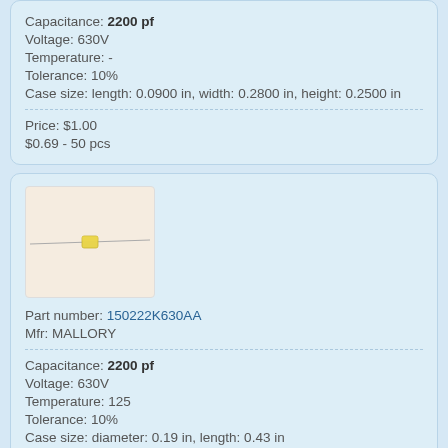Capacitance: 2200 pf
Voltage: 630V
Temperature: -
Tolerance: 10%
Case size: length: 0.0900 in, width: 0.2800 in, height: 0.2500 in
Price: $1.00
$0.69 - 50 pcs
[Figure (photo): Photo of a small yellow capacitor component with long thin leads against a light beige background]
Part number: 150222K630AA
Mfr: MALLORY
Capacitance: 2200 pf
Voltage: 630V
Temperature: 125
Tolerance: 10%
Case size: diameter: 0.19 in, length: 0.43 in
Price: $2.00